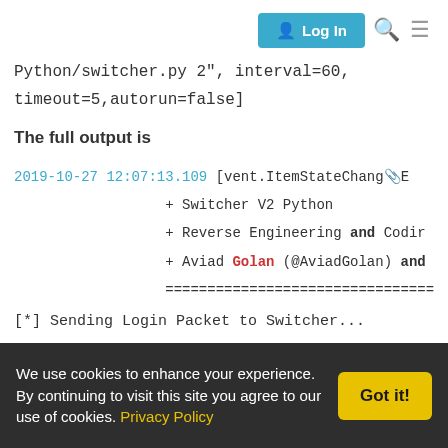Log In [search] [menu]
thing exec:command:Switcher/...
python /etc/openhab2/scripts/Switcher_V2-
Python/switcher.py 2", interval=60,
timeout=5,autorun=false]
The full output is
2019-10-27 12:07:13.109 [vent.ItemStateChange...
                + Switcher V2 Python
                + Reverse Engineering and Codir
                + Aviad Golan (@AviadGolan) and
                ================================
[*] Sending Login Packet to Switcher...
[+] Received SessionID: 283a814f
[*] Getting Switcher state...
We use cookies to enhance your experience. By continuing to visit this site you agree to our use of cookies. Privacy Policy  Got it!